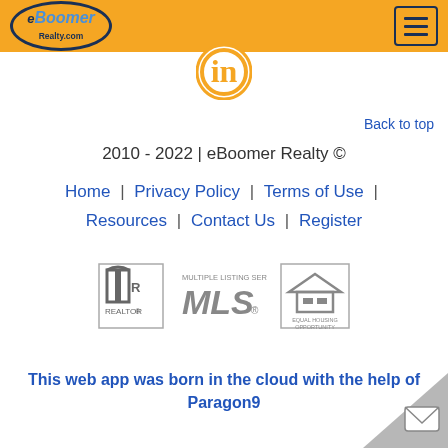[Figure (logo): eBoomer Realty.com logo in oval on orange header bar]
[Figure (logo): LinkedIn 'in' circle icon]
Back to top
2010 - 2022 | eBoomer Realty ©
Home | Privacy Policy | Terms of Use | Resources | Contact Us | Register
[Figure (logo): Realtor, MLS, and Equal Housing Opportunity badges]
This web app was born in the cloud with the help of Paragon9
[Figure (illustration): Email/envelope badge in bottom right corner]